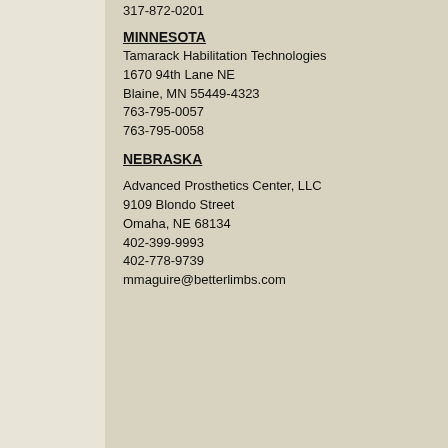317-872-0201
MINNESOTA
Tamarack Habilitation Technologies
1670 94th Lane NE
Blaine, MN 55449-4323
763-795-0057
763-795-0058
NEBRASKA
Advanced Prosthetics Center, LLC
9109 Blondo Street
Omaha, NE 68134
402-399-9993
402-778-9739
mmaguire@betterlimbs.com